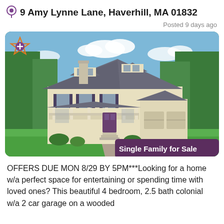9 Amy Lynne Lane, Haverhill, MA 01832
Posted 9 days ago
[Figure (photo): Exterior photo of a large two-story colonial style single family home with gray roof, cream/yellow siding, covered front porch, dormers, attached garage, and green lawn and trees in background. Labeled 'Single Family for Sale'.]
OFFERS DUE MON 8/29 BY 5PM***Looking for a home w/a perfect space for entertaining or spending time with loved ones? This beautiful 4 bedroom, 2.5 bath colonial w/a 2 car garage on a wooded